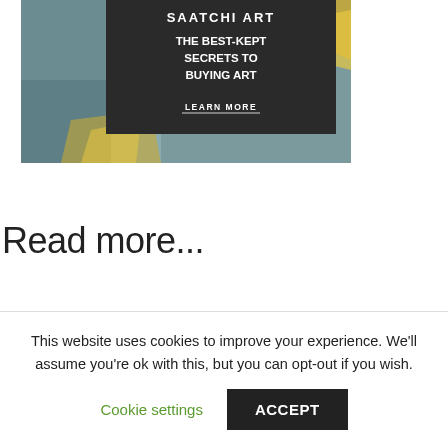[Figure (illustration): Saatchi Art advertisement banner with dark overlay panel showing text 'SAATCHI ART', 'THE BEST-KEPT SECRETS TO BUYING ART', and 'LEARN MORE' button, over an abstract painting background with teal and gold colors.]
Read more...
This website uses cookies to improve your experience. We'll assume you're ok with this, but you can opt-out if you wish.
Cookie settings
ACCEPT